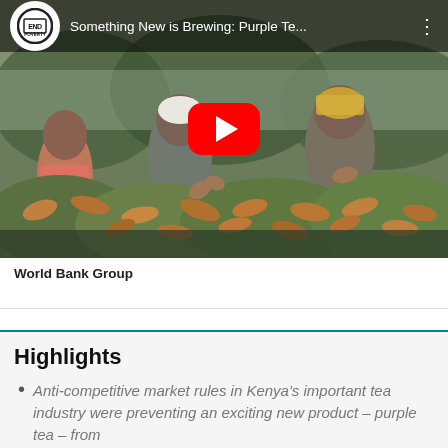[Figure (screenshot): YouTube video thumbnail showing two women picking tea leaves in Kenya. The video title reads 'Something New is Brewing: Purple Te...' with an 'END POVERTY' logo on a YouTube-style player. A red YouTube play button is centered on the image.]
World Bank Group
Highlights
Anti-competitive market rules in Kenya's important tea industry were preventing an exciting new product – purple tea – from